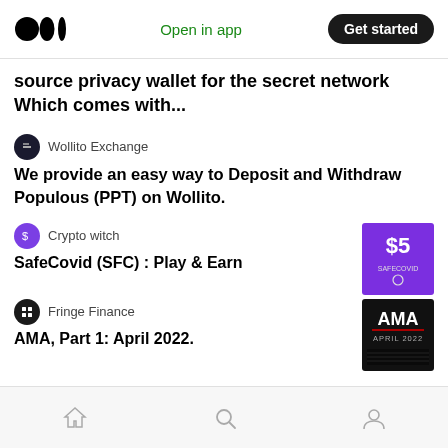Medium logo | Open in app | Get started
source privacy wallet for the secret network Which comes with...
Wollito Exchange
We provide an easy way to Deposit and Withdraw Populous (PPT) on Wollito.
Crypto witch
SafeCovid (SFC) : Play & Earn
Fringe Finance
AMA, Part 1: April 2022.
Home | Search | Profile